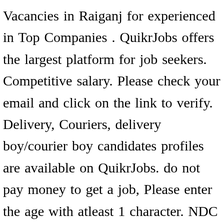Vacancies in Raiganj for experienced in Top Companies . QuikrJobs offers the largest platform for job seekers. Competitive salary. Please check your email and click on the link to verify. Delivery, Couriers, delivery boy/courier boy candidates profiles are available on QuikrJobs. do not pay money to get a job, Please enter the age with atleast 1 character. NDC call for 100% customer, CCCF closure, customer F2F 23 December 2020: Find 7 Delivery, Couriers, delivery boy/courier boy Jobs in raiganj at QuikrJobs. Overview;